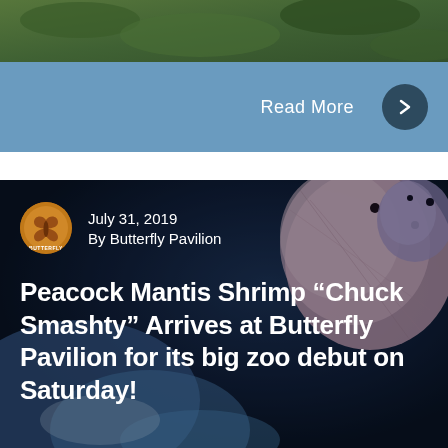[Figure (photo): Green foliage/nature image strip at top of page]
Read More
[Figure (photo): Close-up photograph of a Peacock Mantis Shrimp showing large colorful compound eyes, pink and blue coloring on dark background]
July 31, 2019
By Butterfly Pavilion
Peacock Mantis Shrimp “Chuck Smashty” Arrives at Butterfly Pavilion for its big zoo debut on Saturday!